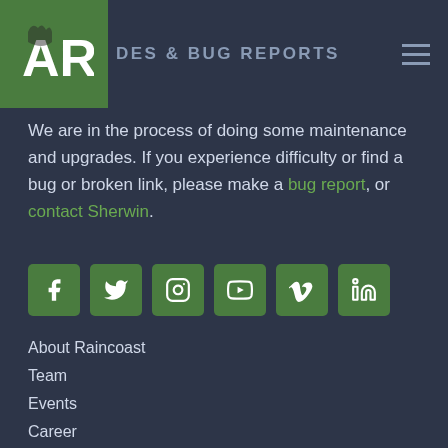ODES & BUG REPORTS
We are in the process of doing some maintenance and upgrades. If you experience difficulty or find a bug or broken link, please make a bug report, or contact Sherwin.
[Figure (infographic): Row of 6 green social media icon buttons: Facebook, Twitter, Instagram, YouTube, Vimeo, LinkedIn]
About Raincoast
Team
Events
Career
Board of Directors
Friends of Raincoast
Volunteer